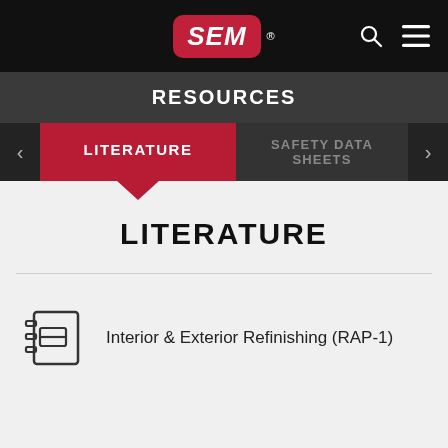SEM® — Navigation bar with search and menu icons
RESOURCES
LITERATURE | SAFETY DATA SHEETS
LITERATURE
Interior & Exterior Refinishing (RAP-1)